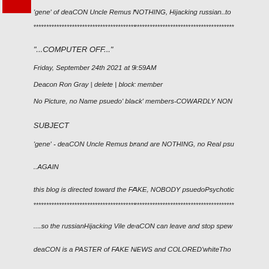'gene' of deaCON Uncle Remus NOTHING, Hijacking russian..to
******************************************************************************
"...COMPUTER OFF..."
Friday, September 24th 2021 at 9:59AM
Deacon Ron Gray | delete | block member
No Picture, no Name psuedo' black' members-COWARDLY NON
SUBJECT
'gene' - deaCON Uncle Remus brand are NOTHING, no Real psu
..AGAIN
this blog is directed toward the FAKE, NOBODY psuedoPsychotic
******************************************************************************
....so the russianHijacking Vile deaCON can leave and stop spew
deaCON is a PASTER of FAKE NEWS and COLORED'whiteTho
deaCON disrespects the African American Professionals by PAST
deaCON uses Racism for deaCON Facebook Hits..No BIA Africa
deaCON russianBOT inspired Division, Misconceptions and engl
******************************************************************************